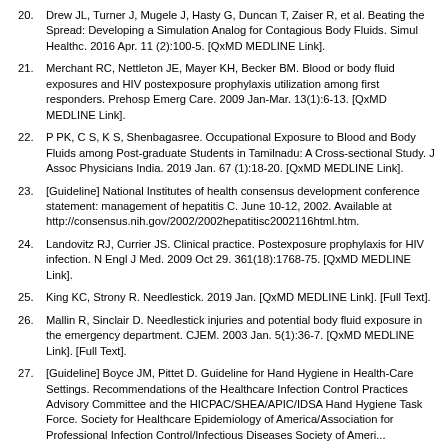20. Drew JL, Turner J, Mugele J, Hasty G, Duncan T, Zaiser R, et al. Beating the Spread: Developing a Simulation Analog for Contagious Body Fluids. Simul Healthc. 2016 Apr. 11 (2):100-5. [QxMD MEDLINE Link].
21. Merchant RC, Nettleton JE, Mayer KH, Becker BM. Blood or body fluid exposures and HIV postexposure prophylaxis utilization among first responders. Prehosp Emerg Care. 2009 Jan-Mar. 13(1):6-13. [QxMD MEDLINE Link].
22. P PK, C S, K S, Shenbagasree. Occupational Exposure to Blood and Body Fluids among Post-graduate Students in Tamilnadu: A Cross-sectional Study. J Assoc Physicians India. 2019 Jan. 67 (1):18-20. [QxMD MEDLINE Link].
23. [Guideline] National Institutes of health consensus development conference statement: management of hepatitis C. June 10-12, 2002. Available at http://consensus.nih.gov/2002/2002hepatitisc2002116html.htm.
24. Landovitz RJ, Currier JS. Clinical practice. Postexposure prophylaxis for HIV infection. N Engl J Med. 2009 Oct 29. 361(18):1768-75. [QxMD MEDLINE Link].
25. King KC, Strony R. Needlestick. 2019 Jan. [QxMD MEDLINE Link]. [Full Text].
26. Mallin R, Sinclair D. Needlestick injuries and potential body fluid exposure in the emergency department. CJEM. 2003 Jan. 5(1):36-7. [QxMD MEDLINE Link]. [Full Text].
27. [Guideline] Boyce JM, Pittet D. Guideline for Hand Hygiene in Health-Care Settings. Recommendations of the Healthcare Infection Control Practices Advisory Committee and the HICPAC/SHEA/APIC/IDSA Hand Hygiene Task Force. Society for Healthcare Epidemiology of America/Association for Professional Infection Control/Infectious Diseases Society of Ameri...